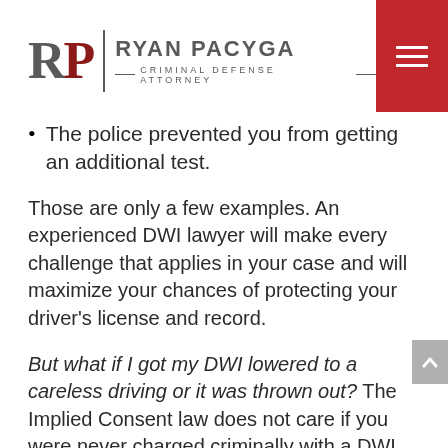RP | RYAN PACYGA — CRIMINAL DEFENSE ATTORNEY
The police prevented you from getting an additional test.
Those are only a few examples. An experienced DWI lawyer will make every challenge that applies in your case and will maximize your chances of protecting your driver's license and record.
But what if I got my DWI lowered to a careless driving or it was thrown out? The Implied Consent law does not care if you were never charged criminally with a DWI, does not care if your DWI was dismissed in the criminal case, does not care if you pled your DWI down to a lower charge such